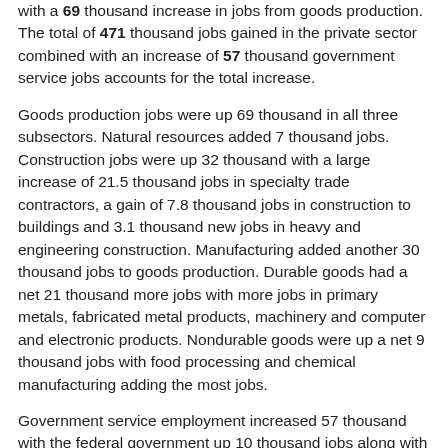with a 69 thousand increase in jobs from goods production. The total of 471 thousand jobs gained in the private sector combined with an increase of 57 thousand government service jobs accounts for the total increase.
Goods production jobs were up 69 thousand in all three subsectors. Natural resources added 7 thousand jobs. Construction jobs were up 32 thousand with a large increase of 21.5 thousand jobs in specialty trade contractors, a gain of 7.8 thousand jobs in construction to buildings and 3.1 thousand new jobs in heavy and engineering construction. Manufacturing added another 30 thousand jobs to goods production. Durable goods had a net 21 thousand more jobs with more jobs in primary metals, fabricated metal products, machinery and computer and electronic products. Nondurable goods were up a net 9 thousand jobs with food processing and chemical manufacturing adding the most jobs.
Government service employment increased 57 thousand with the federal government up 10 thousand jobs along with 10 thousand new jobs in state government and 37 thousand new jobs in local government employment. Job gains in